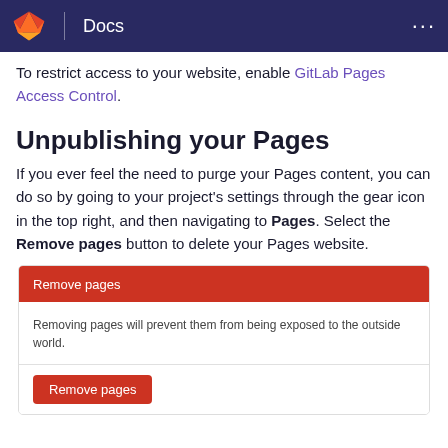GitLab Docs
To restrict access to your website, enable GitLab Pages Access Control.
Unpublishing your Pages
If you ever feel the need to purge your Pages content, you can do so by going to your project’s settings through the gear icon in the top right, and then navigating to Pages. Select the Remove pages button to delete your Pages website.
[Figure (screenshot): Screenshot of the Remove pages UI dialog in GitLab settings. Shows a red header bar labeled 'Remove pages', a white body section with text 'Removing pages will prevent them from being exposed to the outside world.', and a red 'Remove pages' button below.]